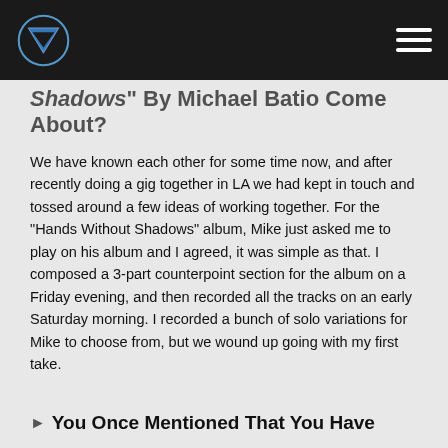Shadows" By Michael Batio Come About?
We have known each other for some time now, and after recently doing a gig together in LA we had kept in touch and tossed around a few ideas of working together. For the "Hands Without Shadows" album, Mike just asked me to play on his album and I agreed, it was simple as that. I composed a 3-part counterpoint section for the album on a Friday evening, and then recorded all the tracks on an early Saturday morning. I recorded a bunch of solo variations for Mike to choose from, but we wound up going with my first take.
You Once Mentioned That You Have